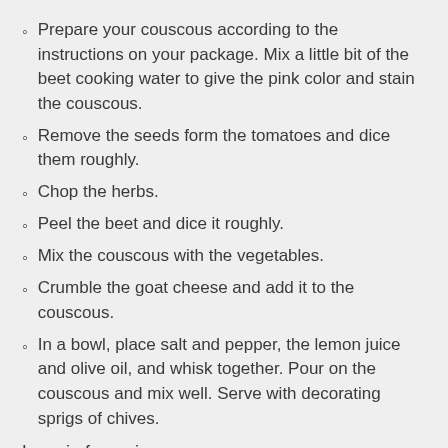Prepare your couscous according to the instructions on your package. Mix a little bit of the beet cooking water to give the pink color and stain the couscous.
Remove the seeds form the tomatoes and dice them roughly.
Chop the herbs.
Peel the beet and dice it roughly.
Mix the couscous with the vegetables.
Crumble the goat cheese and add it to the couscous.
In a bowl, place salt and pepper, the lemon juice and olive oil, and whisk together. Pour on the couscous and mix well. Serve with decorating sprigs of chives.
Le coin français